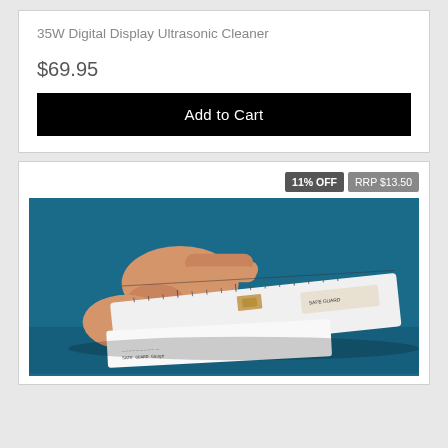35W Digital Display Ultrasonic Cleaner
$69.95
Add to Cart
11% OFF
RRP $13.50
[Figure (photo): A hand using a ruler/measuring tool on a blue surface. The white ruler has measurement markings and text on it.]